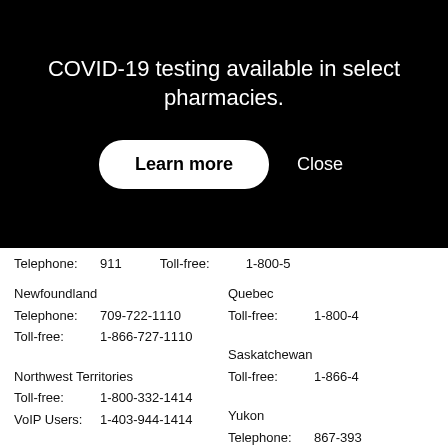COVID-19 testing available in select pharmacies.
Learn more
Close
Telephone: 911   Toll-free: 1-800-5
Newfoundland
Telephone: 709-722-1110
Toll-free: 1-866-727-1110
Quebec
Toll-free: 1-800-4
Northwest Territories
Toll-free: 1-800-332-1414
VoIP Users: 1-403-944-1414
Saskatchewan
Toll-free: 1-866-4
Yukon
Telephone: 867-393
Nova Scotia
Telephone: 902-470-8161